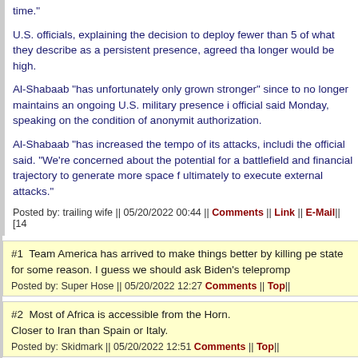time."
U.S. officials, explaining the decision to deploy fewer than 5[00], of what they describe as a persistent presence, agreed tha[t the cost of staying] longer would be high.
Al-Shabaab "has unfortunately only grown stronger" since [the decision] to no longer maintains an ongoing U.S. military presence i[n Somalia], official said Monday, speaking on the condition of anonymit[y without] authorization.
Al-Shabaab "has increased the tempo of its attacks, includi[ng...]," the official said. "We're concerned about the potential for a[l-Shabaab's] battlefield and financial trajectory to generate more space f[or them] ultimately to execute external attacks."
Posted by: trailing wife || 05/20/2022 00:44 || Comments || Link || E-Mail|| [14...]
#1  Team America has arrived to make things better by killing pe[ople] state for some reason. I guess we should ask Biden's telepromp[ter]
Posted by: Super Hose || 05/20/2022 12:27 Comments || Top||
#2  Most of Africa is accessible from the Horn.
Closer to Iran than Spain or Italy.
Posted by: Skidmark || 05/20/2022 12:51 Comments || Top||